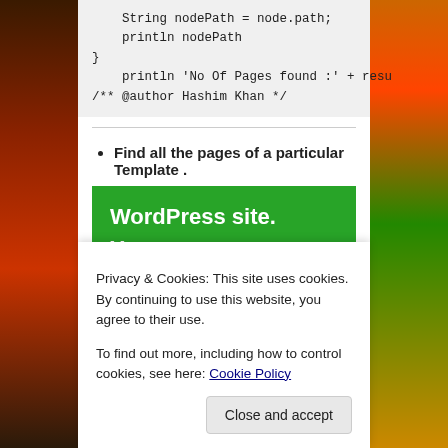String nodePath = node.path;
    println nodePath
}
    println 'No Of Pages found :' + resu
/** @author Hashim Khan */
Find all the pages of a particular Template .
[Figure (other): Green advertisement banner for WordPress site security with text 'WordPress site. You run your business.' and a 'Secure Your Site' button.]
Privacy & Cookies: This site uses cookies. By continuing to use this website, you agree to their use.
To find out more, including how to control cookies, see here: Cookie Policy